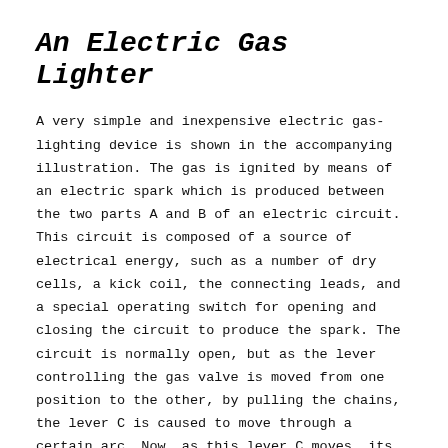An Electric Gas Lighter
A very simple and inexpensive electric gas-lighting device is shown in the accompanying illustration. The gas is ignited by means of an electric spark which is produced between the two parts A and B of an electric circuit. This circuit is composed of a source of electrical energy, such as a number of dry cells, a kick coil, the connecting leads, and a special operating switch for opening and closing the circuit to produce the spark. The circuit is normally open, but as the lever controlling the gas valve is moved from one position to the other, by pulling the chains, the lever C is caused to move through a certain arc. Now, as this lever C moves, its upper end passes the projecting point B, which is attached to the upper portion of the burner, and the electric circuit will be completed and broken. Just as the point A leaves contact with the point B an arc will be produced. This arc is greatly intensified by the kick coil, which acts as a sort of reservoir in which energy is stored while the circuit is closed, and upon opening the circuit this stored energy is given out by the kick coil and increases the size of the arc.
The points A and B should both be made of platinum, as other metals